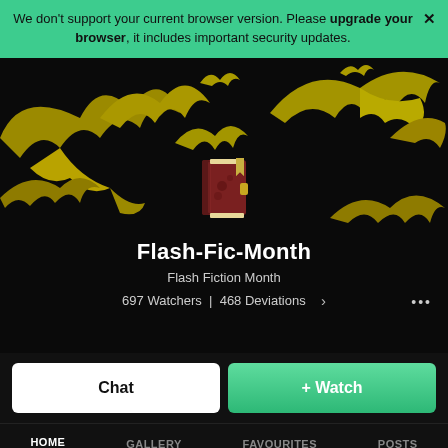We don't support your current browser version. Please upgrade your browser, it includes important security updates.
[Figure (illustration): DeviantArt group profile page hero with black background featuring yellow/gold bat silhouettes and a fantasy book icon in the center]
Flash-Fic-Month
Flash Fiction Month
697 Watchers  |  468 Deviations
Chat
+ Watch
HOME   GALLERY   FAVOURITES   POSTS